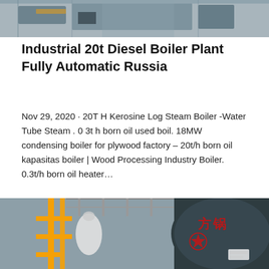[Figure (photo): Industrial boiler equipment in a factory setting, top portion visible]
Industrial 20t Diesel Boiler Plant Fully Automatic Russia
Nov 29, 2020 · 20T H Kerosine Log Steam Boiler -Water Tube Steam . 0 3t h born oil used boil. 18MW condensing boiler for plywood factory – 20t/h born oil kapasitas boiler | Wood Processing Industry Boiler. 0.3t/h born oil heater…
Get Price
[Figure (photo): Industrial boiler with yellow gas pipes and Chinese text markings on a dark cylindrical boiler unit]